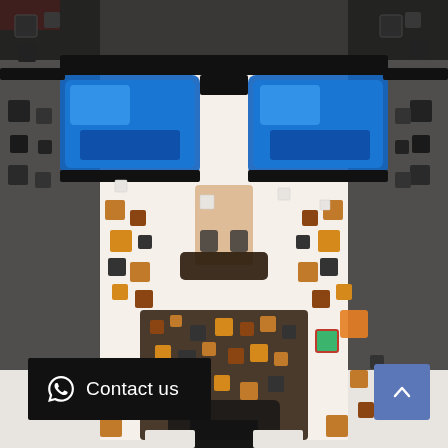[Figure (illustration): Pixelated/mosaic-style portrait of a person wearing large dark-framed sunglasses with blue lenses, composed of colorful squares and rectangles in black, orange, red, blue, and tan tones on a white background.]
Contact us